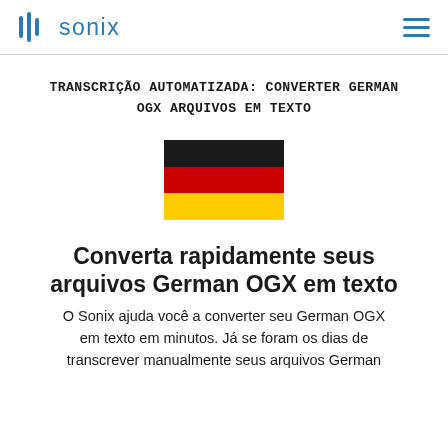sonix
TRANSCRIÇÃO AUTOMATIZADA: CONVERTER GERMAN OGX ARQUIVOS EM TEXTO
[Figure (illustration): German flag with three horizontal stripes: black on top, red in middle, gold/yellow on bottom]
Converta rapidamente seus arquivos German OGX em texto
O Sonix ajuda você a converter seu German OGX em texto em minutos. Já se foram os dias de transcrever manualmente seus arquivos German